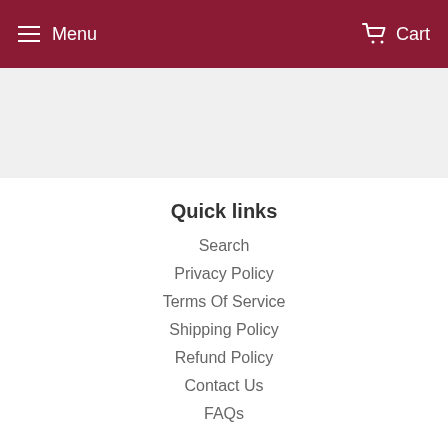Menu  Cart
Quick links
Search
Privacy Policy
Terms Of Service
Shipping Policy
Refund Policy
Contact Us
FAQs
About Elliefont Styles
Elliefont Styles is a Florida based retail store featuring personalized gifts, handmade home decor and wooden items, and custom shirts.